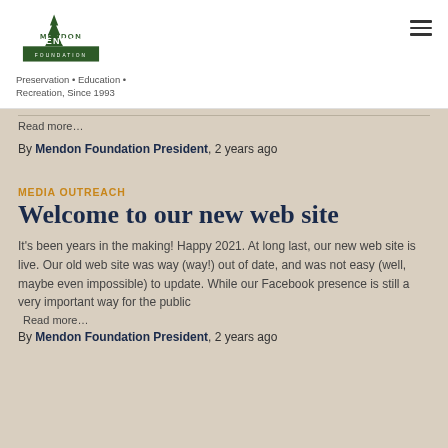[Figure (logo): Mendon Foundation logo with green tree/building silhouettes and text MENDON FOUNDATION]
Preservation • Education • Recreation, Since 1993
Read more...
By Mendon Foundation President, 2 years ago
MEDIA OUTREACH
Welcome to our new web site
It's been years in the making! Happy 2021. At long last, our new web site is live. Our old web site was way (way!) out of date, and was not easy (well, maybe even impossible) to update. While our Facebook presence is still a very important way for the public
Read more...
By Mendon Foundation President, 2 years ago